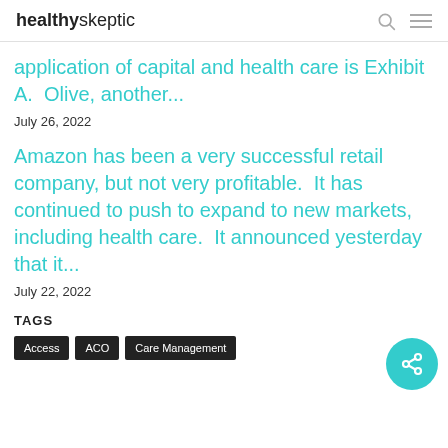healthyskeptic
application of capital and health care is Exhibit A.  Olive, another...
July 26, 2022
Amazon has been a very successful retail company, but not very profitable.  It has continued to push to expand to new markets, including health care.  It announced yesterday that it...
July 22, 2022
TAGS
Access
ACO
Care Management